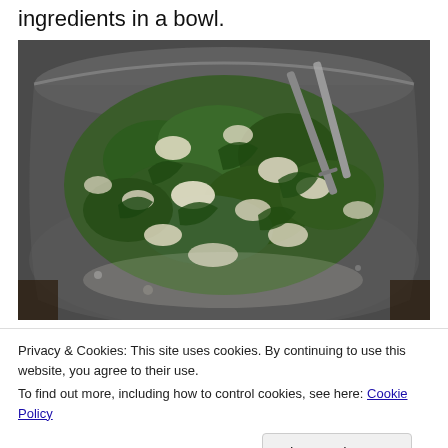ingredients in a bowl.
[Figure (photo): A metal mixing bowl containing a mixture of cooked spinach and white crumbled cheese (such as ricotta or feta), with a metal spoon or tongs visible at the top right. The filling looks moist and chunky.]
Privacy & Cookies: This site uses cookies. By continuing to use this website, you agree to their use.
To find out more, including how to control cookies, see here: Cookie Policy
Close and accept